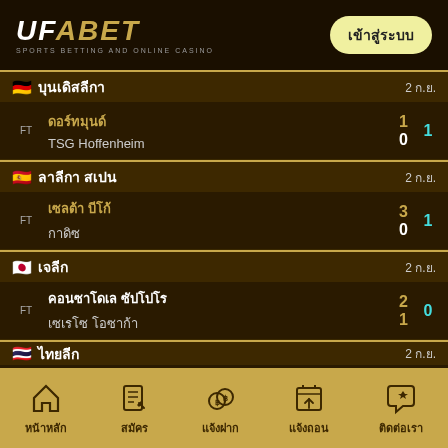[Figure (logo): UFABET logo with 'SPORTS BETTING AND ONLINE CASINO' tagline]
เข้าสู่ระบบ
บุนเดิสลีกา  2 ก.ย.
| Status | Home Team | Score | Away Team | Extra |
| --- | --- | --- | --- | --- |
| FT | ดอร์ทมุนด์ / TSG Hoffenheim | 1 / 0 |  | 1 |
ลาลีกา สเปน  2 ก.ย.
| Status | Home Team | Score | Away Team | Extra |
| --- | --- | --- | --- | --- |
| FT | เซลต้า บีโก้ / กาดิซ | 3 / 0 |  | 1 |
เจลีก  2 ก.ย.
| Status | Home Team | Score | Away Team | Extra |
| --- | --- | --- | --- | --- |
| FT | คอนซาโดเล ซัปโปโร / เซเรโซ โอซาก้า | 2 / 1 |  | 0 |
ไทยลีก  2 ก.ย.
หน้าหลัก
สมัคร
แจ้งฝาก
แจ้งถอน
ติดต่อเรา